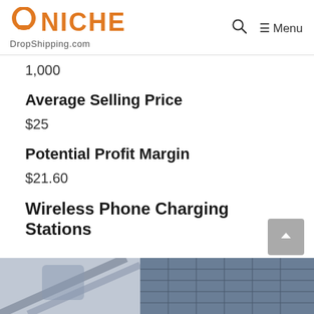NICHE DropShipping.com — Menu
1,000
Average Selling Price
$25
Potential Profit Margin
$21.60
Wireless Phone Charging Stations
[Figure (photo): Partial bottom images of wireless phone charging station products]